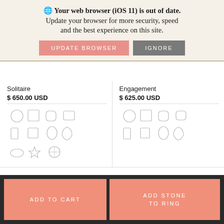🌐 Your web browser (iOS 11) is out of date. Update your browser for more security, speed and the best experience on this site.
UPDATE BROWSER
IGNORE
Solitaire
$ 650.00 USD
[Figure (illustration): Grid of diamond/gemstone shape icons in light outline style: round, princess, cushion, emerald, radiant, asscher, oval, pear, marquise, heart, and others]
Engagement
$ 625.00 USD
[Figure (illustration): Grid of diamond/gemstone shape icons in light outline style]
[Figure (photo): Silver/white gold solitaire ring shown from side angle]
[Figure (photo): Silver/white gold engagement ring shown from side angle]
ADD TO CART
ADD STONE TO RING